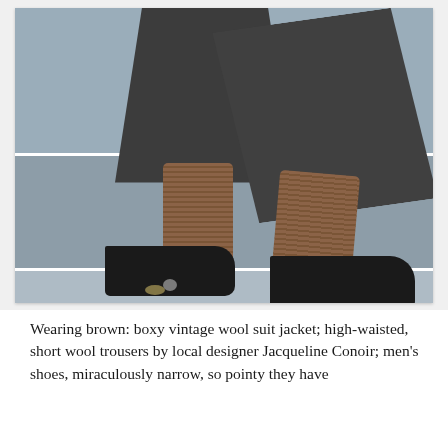[Figure (photo): A person sitting on concrete stairs wearing dark grey high-waisted short wool trousers, brown patterned socks, and dark pointy men's leather shoes. The lower body and legs are shown, with the person seated on steps. A small object is visible on the bottom step.]
Wearing brown: boxy vintage wool suit jacket; high-waisted, short wool trousers by local designer Jacqueline Conoir; men's shoes, miraculously narrow, so pointy they have